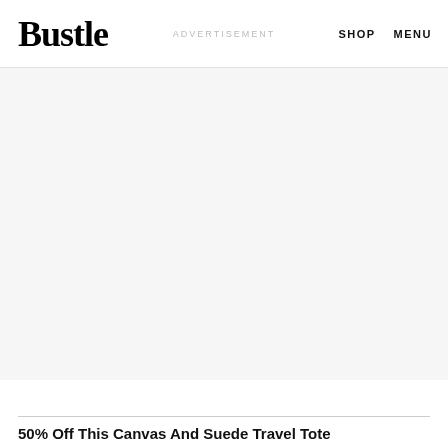Bustle  ADVERTISEMENT  SHOP  MENU
[Figure (other): Advertisement placeholder area with light gray background]
50% Off This Canvas And Suede Travel Tote